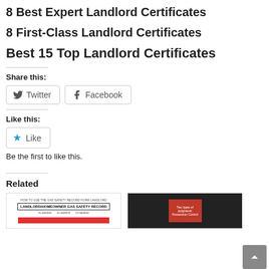8 Best Expert Landlord Certificates
8 First-Class Landlord Certificates
Best 15 Top Landlord Certificates
Share this:
Twitter  Facebook
Like this:
Like
Be the first to like this.
Related
[Figure (other): Thumbnail of a LANDLORD/HOMEOWNER GAS SAFETY RECORD document with red bar chart]
[Figure (other): Thumbnail showing 'Two types of judgments: Possession Control' text on dark background with red box]